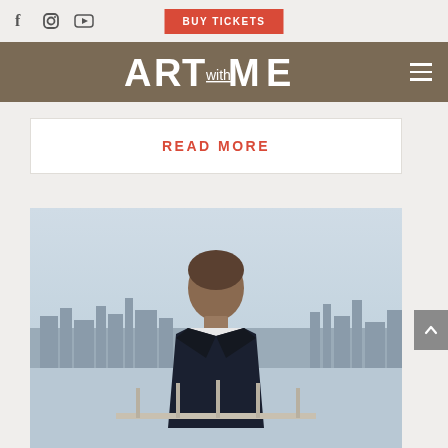BUY TICKETS | Social icons: Facebook, Instagram, YouTube
[Figure (logo): ART WITH ME logo in white on brown/tan navigation bar with hamburger menu icon]
READ MORE
[Figure (photo): Man in dark jacket and white shirt standing on a rooftop with city skyline in background]